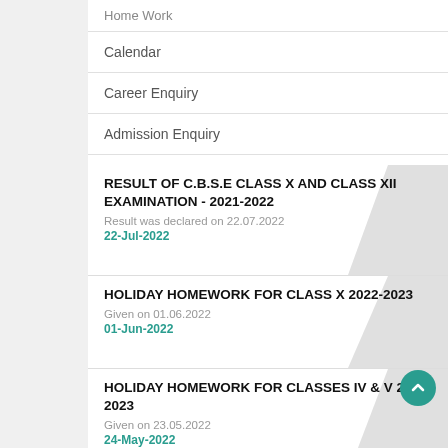Home Work
Calendar
Career Enquiry
Admission Enquiry
RESULT OF C.B.S.E CLASS X AND CLASS XII EXAMINATION - 2021-2022
Result was declared on 22.07.2022
22-Jul-2022
HOLIDAY HOMEWORK FOR CLASS X 2022-2023
Given on 01.06.2022
01-Jun-2022
HOLIDAY HOMEWORK FOR CLASSES IV & V 2022-2023
Given on 23.05.2022
24-May-2022
HOLIDAY HOMEWORK FOR CLASSES VI, VII & VIII 2022-2023